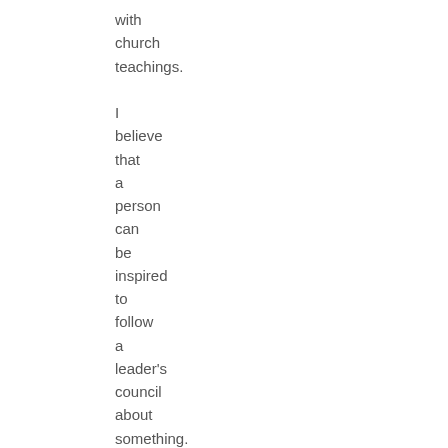with church teachings. I believe that a person can be inspired to follow a leader's council about something. I also believe that a person can be